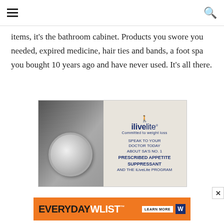Navigation header with hamburger menu and search icon
items, it's the bathroom cabinet. Products you swore you needed, expired medicine, hair ties and bands, a foot spa you bought 10 years ago and have never used. It's all there.
[Figure (photo): Advertisement for iLiveLite weight loss program showing a bathroom scale and brand messaging: 'Committed to weight loss. Speak to your Doctor today about SA's No. 1 Prescribed Appetite Suppressant and the iLiveLite Program']
[Figure (photo): Orange banner advertisement for 'Everyday Wlist' with 'Learn More' button and W icon]